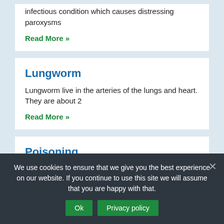infectious condition which causes distressing paroxysms
Read More »
Lungworm
Lungworm live in the arteries of the lungs and heart. They are about 2
Read More »
Poisoning
Please have a read through the following notes; you may be surprised by some
Read More »
We use cookies to ensure that we give you the best experience on our website. If you continue to use this site we will assume that you are happy with that.
Ok
Privacy policy